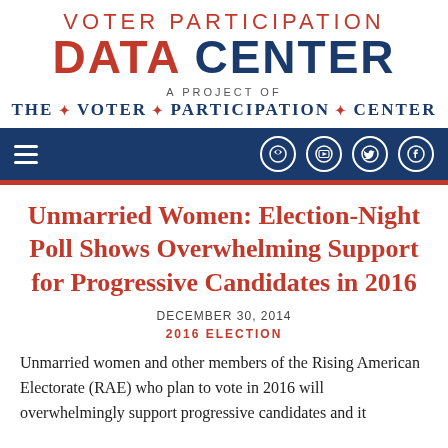VOTER PARTICIPATION DATA CENTER A PROJECT OF THE VOTER PARTICIPATION CENTER
[Figure (other): Navigation bar with hamburger menu and social media icons (RSS, YouTube, Twitter, Facebook) on dark blue background with red accent bar]
Unmarried Women: Election-Night Poll Shows Overwhelming Support for Progressive Candidates in 2016
DECEMBER 30, 2014
2016 ELECTION
Unmarried women and other members of the Rising American Electorate (RAE) who plan to vote in 2016 will overwhelmingly support progressive candidates and it